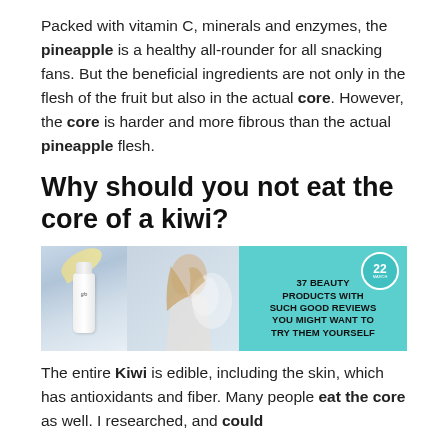Packed with vitamin C, minerals and enzymes, the pineapple is a healthy all-rounder for all snacking fans. But the beneficial ingredients are not only in the flesh of the fruit but also in the actual core. However, the core is harder and more fibrous than the actual pineapple flesh.
Why should you not eat the core of a kiwi?
[Figure (photo): Advertisement banner with teal/turquoise background showing a beauty product bottle on the left, a woman with flowing hair on the right, and text reading '22 MARCH / 37 BEAUTY PRODUCTS WITH SUCH GOOD REVIEWS YOU MIGHT WANT TO TRY THEM YOURSELF']
The entire Kiwi is edible, including the skin, which has antioxidants and fiber. Many people eat the core as well. I researched, and could